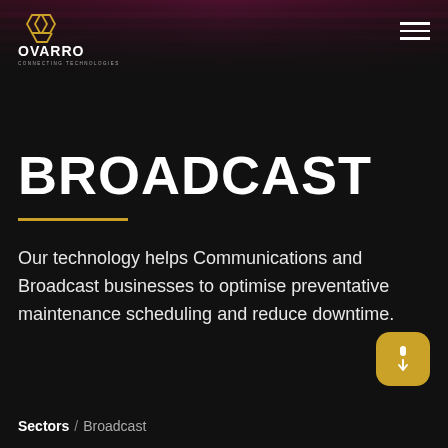[Figure (photo): Top banner photo of a stadium/arena with pink/magenta seats and dark overlay]
[Figure (logo): Ovarro logo — hexagonal honeycomb icon in gold outline, white text 'OVARRO', subtitle 'CONNECTING TECHNOLOGIES']
BROADCAST
Our technology helps Communications and Broadcast businesses to optimise preventative maintenance scheduling and reduce downtime.
Sectors / Broadcast